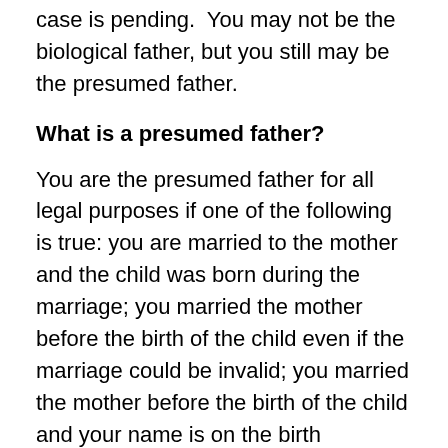case is pending. You may not be the biological father, but you still may be the presumed father.
What is a presumed father?
You are the presumed father for all legal purposes if one of the following is true: you are married to the mother and the child was born during the marriage; you married the mother before the birth of the child even if the marriage could be invalid; you married the mother before the birth of the child and your name is on the birth certificate. This means, even if you are not the biological father of the child you are the father in the eyes of the law. Therefore, the judge can make orders